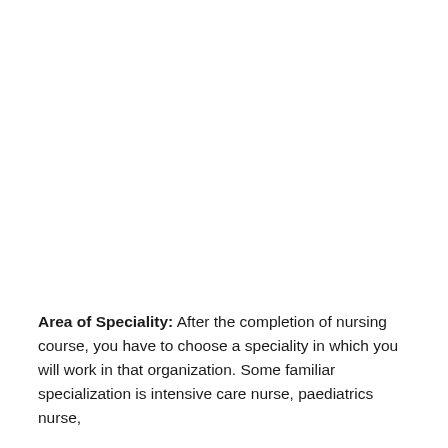Area of Speciality: After the completion of nursing course, you have to choose a speciality in which you will work in that organization. Some familiar specialization is intensive care nurse, paediatrics nurse,